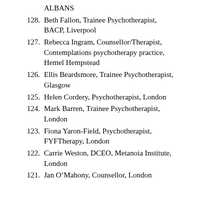ALBANS
128. Beth Fallon, Trainee Psychotherapist, BACP, Liverpool
127. Rebecca Ingram, Counsellor/Therapist, Contemplations psychotherapy practice, Hemel Hempstead
126. Ellis Beardsmore, Trainee Psychotherapist, Glasgow
125. Helen Cordery, Psychotherapist, London
124. Mark Barren, Trainee Psychotherapist, London
123. Fiona Yaron-Field, Psychotherapist, FYFTherapy, London
122. Carrie Weston, DCEO, Metanoia Institute, London
121. Jan O’Mahony, Counsellor, London